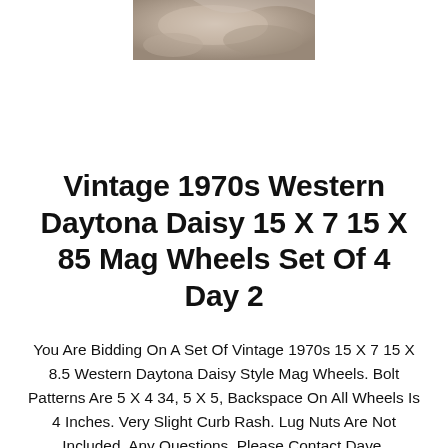[Figure (photo): Partial photo of vintage mag wheels, showing close-up of wheel surface, cropped at top of page]
Vintage 1970s Western Daytona Daisy 15 X 7 15 X 85 Mag Wheels Set Of 4 Day 2
You Are Bidding On A Set Of Vintage 1970s 15 X 7 15 X 8.5 Western Daytona Daisy Style Mag Wheels. Bolt Patterns Are 5 X 4 34, 5 X 5, Backspace On All Wheels Is 4 Inches. Very Slight Curb Rash. Lug Nuts Are Not Included. Any Questions, Please Contact Dave.